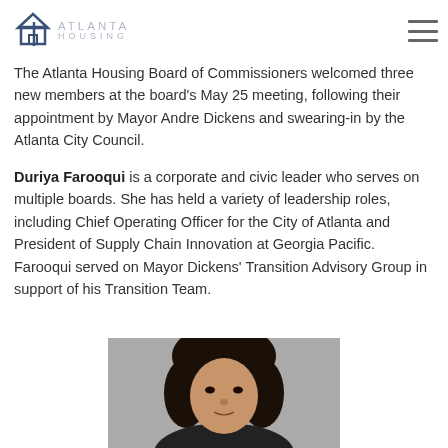Atlanta Housing - The Atlanta Housing Board of Commissioners
The Atlanta Housing Board of Commissioners welcomed three new members at the board's May 25 meeting, following their appointment by Mayor Andre Dickens and swearing-in by the Atlanta City Council.
Duriya Farooqui is a corporate and civic leader who serves on multiple boards. She has held a variety of leadership roles, including Chief Operating Officer for the City of Atlanta and President of Supply Chain Innovation at Georgia Pacific. Farooqui served on Mayor Dickens' Transition Advisory Group in support of his Transition Team.
[Figure (photo): Headshot photo of Duriya Farooqui, a woman with dark hair, against a gray background]